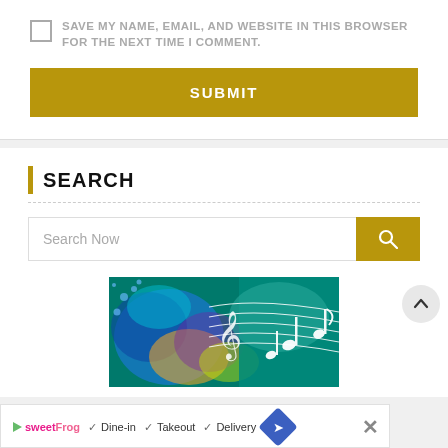SAVE MY NAME, EMAIL, AND WEBSITE IN THIS BROWSER FOR THE NEXT TIME I COMMENT.
SUBMIT
SEARCH
Search Now
[Figure (illustration): Colorful watercolor music illustration with musical notes and staff lines on a teal/blue/green background]
Dine-in  Takeout  Delivery